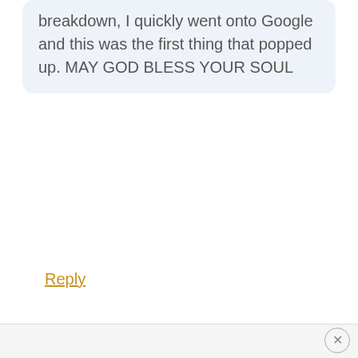breakdown, I quickly went onto Google and this was the first thing that popped up. MAY GOD BLESS YOUR SOUL
Reply